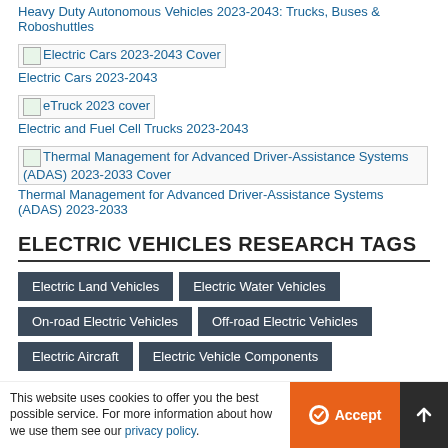Heavy Duty Autonomous Vehicles 2023-2043: Trucks, Buses & Roboshuttles
Electric Cars 2023-2043
Electric and Fuel Cell Trucks 2023-2043
Thermal Management for Advanced Driver-Assistance Systems (ADAS) 2023-2033
ELECTRIC VEHICLES RESEARCH TAGS
Electric Land Vehicles
Electric Water Vehicles
On-road Electric Vehicles
Off-road Electric Vehicles
Electric Aircraft
Electric Vehicle Components
This website uses cookies to offer you the best possible service. For more information about how we use them see our privacy policy.